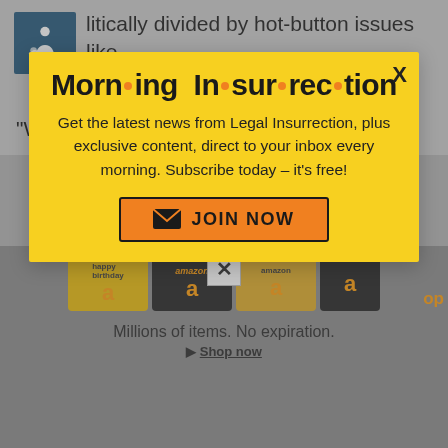litically divided by hot-button issues like ortion, immigration and COVID-19.
“We hope that he’s going to run,” Gilberto
[Figure (infographic): Morning Insurrection newsletter popup modal with yellow background, bold title 'Morn·ing In·sur·rec·tion', subscription text, and JOIN NOW button]
[Figure (screenshot): Amazon gift card advertisement banner showing multiple Amazon branded gift cards with text 'Millions of items. No expiration.' and 'Shop now' link]